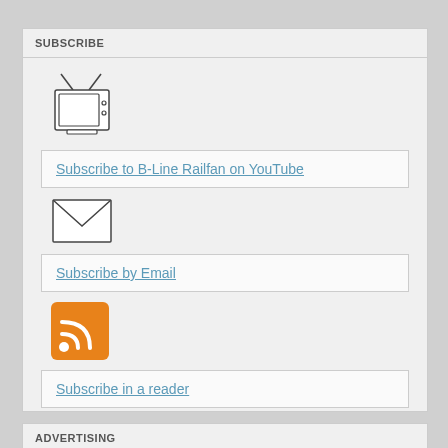SUBSCRIBE
[Figure (illustration): TV/television icon - line drawing of a retro TV set with antenna]
Subscribe to B-Line Railfan on YouTube
[Figure (illustration): Envelope/mail icon - line drawing of an envelope]
Subscribe by Email
[Figure (illustration): RSS feed icon - orange square with white RSS signal waves]
Subscribe in a reader
ADVERTISING